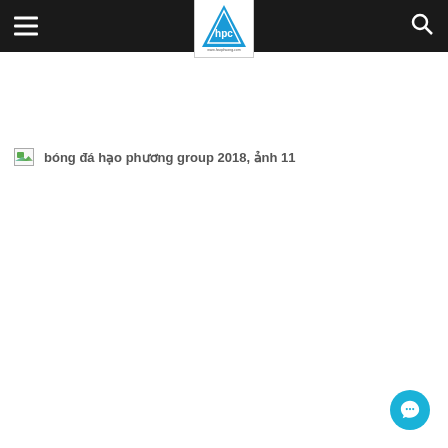HPC - Hao Phuong Corp header navigation bar
[Figure (logo): HPC logo - blue triangle with hpc text and www.haophuong.com below]
[Figure (other): Broken image placeholder with alt text: bóng đá hạo phương group 2018, ảnh 11]